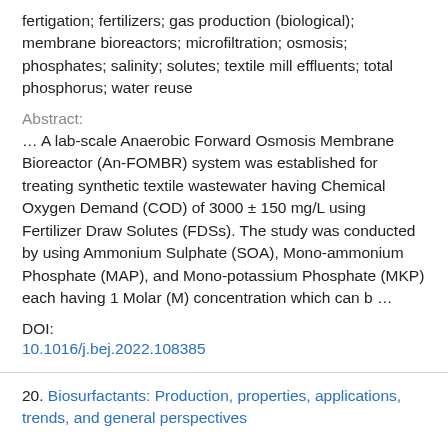fertigation; fertilizers; gas production (biological); membrane bioreactors; microfiltration; osmosis; phosphates; salinity; solutes; textile mill effluents; total phosphorus; water reuse
Abstract:
… A lab-scale Anaerobic Forward Osmosis Membrane Bioreactor (An-FOMBR) system was established for treating synthetic textile wastewater having Chemical Oxygen Demand (COD) of 3000 ± 150 mg/L using Fertilizer Draw Solutes (FDSs). The study was conducted by using Ammonium Sulphate (SOA), Mono-ammonium Phosphate (MAP), and Mono-potassium Phosphate (MKP) each having 1 Molar (M) concentration which can b …
DOI:
10.1016/j.bej.2022.108385
20. Biosurfactants: Production, properties, applications, trends, and general perspectives